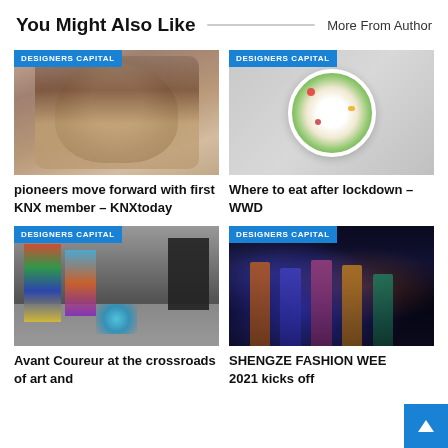You Might Also Like
More From Author
[Figure (photo): Portrait photo of a woman with brown hair, with DESIGNERS CAPITAL badge]
pioneers move forward with first KNX member – KNXtoday
[Figure (photo): Overhead photo of a colorful salad bowl on grey background, with DESIGNERS CAPITAL badge]
Where to eat after lockdown – WWD
[Figure (photo): Interior of an art gallery with colorful paintings, with DESIGNERS CAPITAL badge]
Avant Coureur at the crossroads of art and
[Figure (photo): Fashion show with models on runway under blue and orange lights, with DESIGNERS CAPITAL badge]
SHENGZE FASHION WEEK 2021 kicks off